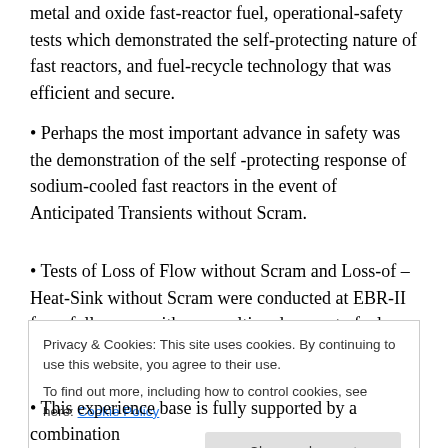metal and oxide fast-reactor fuel, operational-safety tests which demonstrated the self-protecting nature of fast reactors, and fuel-recycle technology that was efficient and secure.
• Perhaps the most important advance in safety was the demonstration of the self -protecting response of sodium-cooled fast reactors in the event of Anticipated Transients without Scram.
• Tests of Loss of Flow without Scram and Loss-of –Heat-Sink without Scram were conducted at EBR-II from full power with no resulting damage to fuel or systems,
Privacy & Cookies: This site uses cookies. By continuing to use this website, you agree to their use. To find out more, including how to control cookies, see here: Cookie Policy
• This experience base is fully supported by a combination